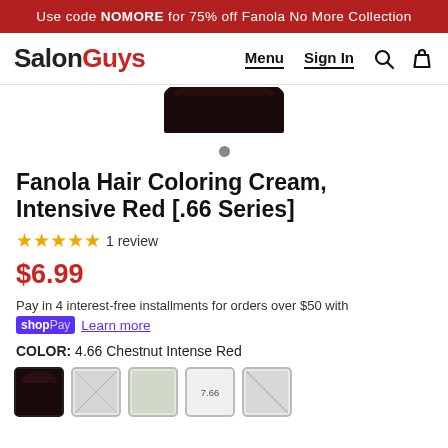Use code NOMORE for 75% off Fanola No More Collection
[Figure (screenshot): SalonGuys website navigation bar with logo, Menu, Sign In links, search and cart icons]
[Figure (photo): Partial view of a dark hair coloring product bowl/container from above]
Fanola Hair Coloring Cream, Intensive Red [.66 Series]
★★★★★ 1 review
$6.99
Pay in 4 interest-free installments for orders over $50 with
shop Pay  Learn more
COLOR:  4.66 Chestnut Intense Red
[Figure (photo): Row of color swatch thumbnails for hair color options]